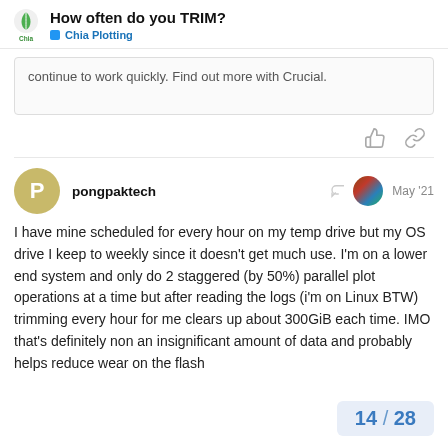How often do you TRIM? — Chia Plotting
continue to work quickly. Find out more with Crucial.
pongpaktech — May '21
I have mine scheduled for every hour on my temp drive but my OS drive I keep to weekly since it doesn't get much use. I'm on a lower end system and only do 2 staggered (by 50%) parallel plot operations at a time but after reading the logs (i'm on Linux BTW) trimming every hour for me clears up about 300GiB each time. IMO that's definitely non an insignificant amount of data and probably helps reduce wear on the flash
14 / 28